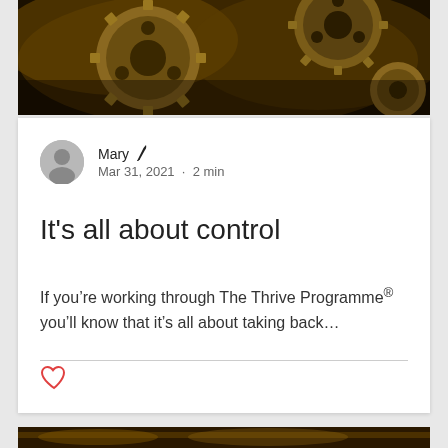[Figure (photo): Close-up photograph of golden/bronze mechanical gears with holes, dark industrial background]
Mary · Mar 31, 2021 · 2 min
It's all about control
If you're working through The Thrive Programme® you'll know that it's all about taking back...
[Figure (photo): Partial view of another image at the bottom of the page]